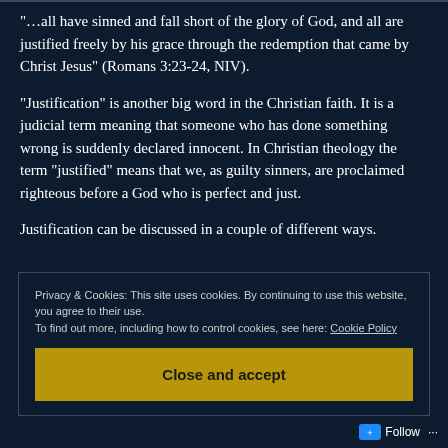“…all have sinned and fall short of the glory of God, and all are justified freely by his grace through the redemption that came by Christ Jesus” (Romans 3:23-24, NIV).
“Justification” is another big word in the Christian faith. It is a judicial term meaning that someone who has done something wrong is suddenly declared innocent. In Christian theology the term “justified” means that we, as guilty sinners, are proclaimed righteous before a God who is perfect and just.
Justification can be discussed in a couple of different ways.
Privacy & Cookies: This site uses cookies. By continuing to use this website, you agree to their use.
To find out more, including how to control cookies, see here: Cookie Policy
Close and accept
Follow